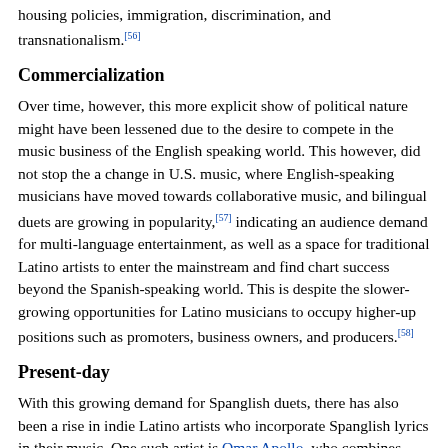housing policies, immigration, discrimination, and transnationalism.[56]
Commercialization
Over time, however, this more explicit show of political nature might have been lessened due to the desire to compete in the music business of the English speaking world. This however, did not stop the a change in U.S. music, where English-speaking musicians have moved towards collaborative music, and bilingual duets are growing in popularity,[57] indicating an audience demand for multi-language entertainment, as well as a space for traditional Latino artists to enter the mainstream and find chart success beyond the Spanish-speaking world. This is despite the slower-growing opportunities for Latino musicians to occupy higher-up positions such as promoters, business owners, and producers.[58]
Present-day
With this growing demand for Spanglish duets, there has also been a rise in indie Latino artists who incorporate Spanglish lyrics in their music. One such artist is Omar Apollo, who combines Spanglish lyrics with music influenced by traditional corridos.[59] Other up and coming Latino artists, such as Kali Uchis, Empress